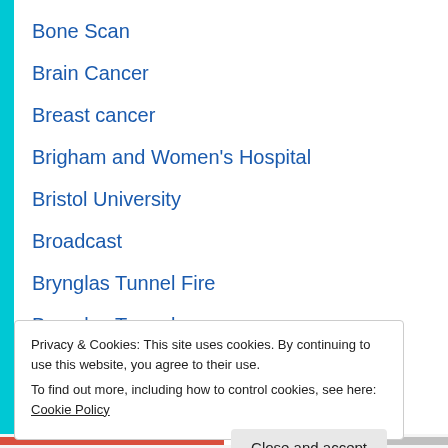Bone Scan
Brain Cancer
Breast cancer
Brigham and Women's Hospital
Bristol University
Broadcast
Brynglas Tunnel Fire
Brynglas Tunnels
C Dif
Canakinumab
Cancer
Privacy & Cookies: This site uses cookies. By continuing to use this website, you agree to their use.
To find out more, including how to control cookies, see here: Cookie Policy